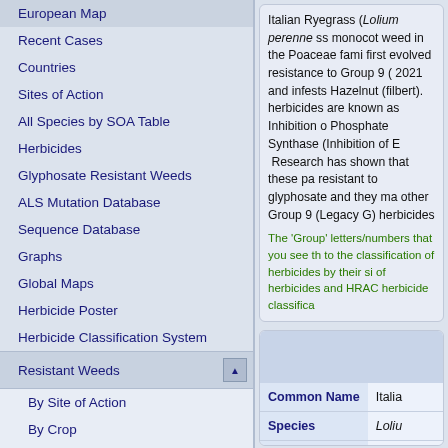European Map
Recent Cases
Countries
Sites of Action
All Species by SOA Table
Herbicides
Glyphosate Resistant Weeds
ALS Mutation Database
Sequence Database
Graphs
Global Maps
Herbicide Poster
Herbicide Classification System
Resistant Weeds
By Site of Action
By Crop
By Species
By Country
By Individual Herbicide
Membership
Italian Ryegrass (Lolium perenne ss monocot weed in the Poaceae family first evolved resistance to Group 9 (G 2021 and infests Hazelnut (filbert). herbicides are known as Inhibition of Phosphate Synthase (Inhibition of E Research has shown that these pa resistant to glyphosate and they ma other Group 9 (Legacy G) herbicides
The 'Group' letters/numbers that you see th to the classification of herbicides by their si of herbicides and HRAC herbicide classifica
| Common Name | Italia |
| --- | --- |
| Species | Loliu |
| Group | Inhib |
| Herbicides | glyph |
| Location | Can |